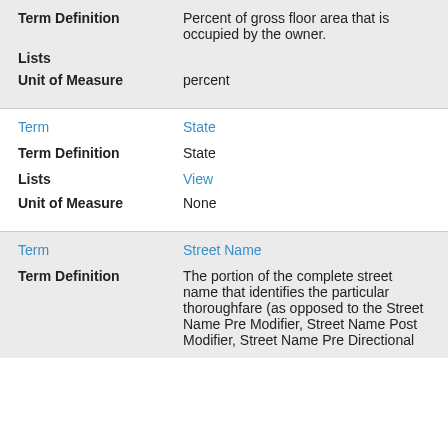| Field | Value |
| --- | --- |
| Term Definition | Percent of gross floor area that is occupied by the owner. |
| Lists |  |
| Unit of Measure | percent |
| Field | Value |
| --- | --- |
| Term | State |
| Term Definition | State |
| Lists | View |
| Unit of Measure | None |
| Field | Value |
| --- | --- |
| Term | Street Name |
| Term Definition | The portion of the complete street name that identifies the particular thoroughfare (as opposed to the Street Name Pre Modifier, Street Name Post Modifier, Street Name Pre Directional |